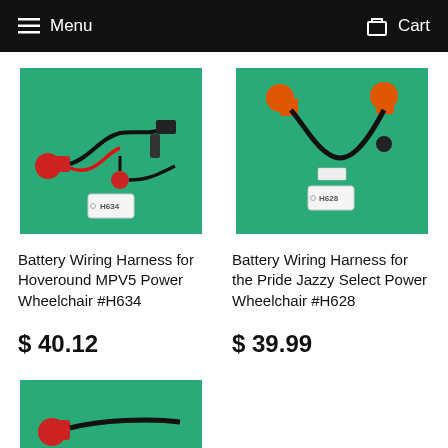Menu  Cart
[Figure (photo): Battery wiring harness with red and black connectors on green background, tagged H634]
Battery Wiring Harness for Hoveround MPV5 Power Wheelchair #H634
$ 40.12
[Figure (photo): Battery wiring harness with orange and black connectors on green background, tagged H628]
Battery Wiring Harness for the Pride Jazzy Select Power Wheelchair #H628
$ 39.99
[Figure (photo): Battery wiring harness on green background, partially visible at bottom of page]